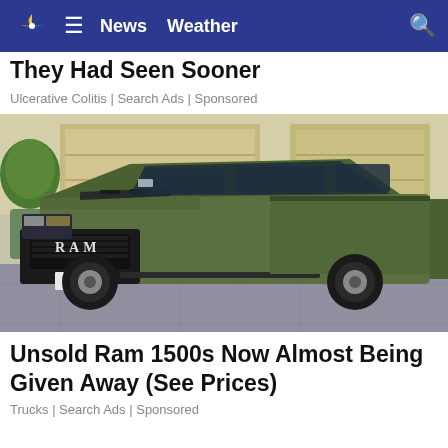News  Weather
They Had Seen Sooner
Ulcerative Colitis | Search Ads | Sponsored
[Figure (photo): A matte olive green RAM 1500 TRX pickup truck parked in a driveway in front of a garage, viewed from the front-left angle.]
Unsold Ram 1500s Now Almost Being Given Away (See Prices)
Trucks | Search Ads | Sponsored